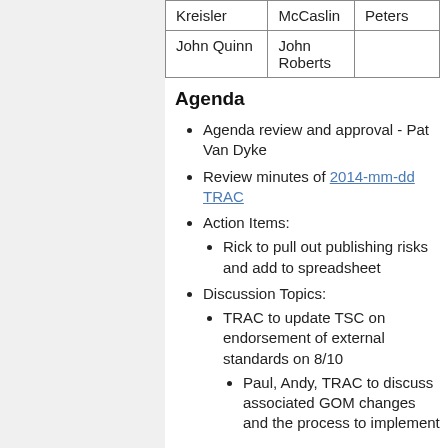| Kreisler | McCaslin | Peters |
| John Quinn | John
Roberts |  |
Agenda
Agenda review and approval - Pat Van Dyke
Review minutes of 2014-mm-dd TRAC
Action Items:
Rick to pull out publishing risks and add to spreadsheet
Discussion Topics:
TRAC to update TSC on endorsement of external standards on 8/10
Paul, Andy, TRAC to discuss associated GOM changes and the process to implement